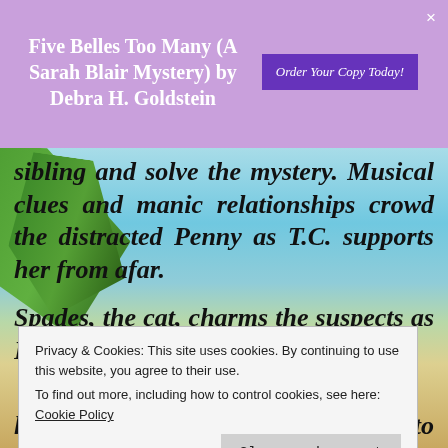Five Belles Too Many (A Sarah Blair Mystery) by Debra H. Goldstein
sibling and solve the mystery. Musical clues and manic relationships crowd the distracted Penny as T.C. supports her from afar.
Spades, the cat, charms the suspects as Penny untangles her omens.
her sleuthing sidekicks dig deep to uncover the
Privacy & Cookies: This site uses cookies. By continuing to use this website, you agree to their use. To find out more, including how to control cookies, see here: Cookie Policy
Close and accept